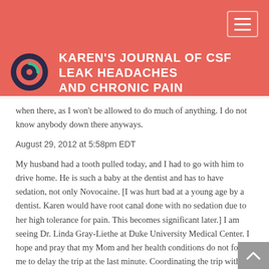[Figure (logo): Circular logo with dark blue and green accent, used as site icon for Karen's Journal blog]
KAREN'S JOURNAL OF CSF LEAK HEADACHES AND CHRONIC PAIN
when there, as I won't be allowed to do much of anything. I do not know anybody down there anyways.
August 29, 2012 at 5:58pm EDT
My husband had a tooth pulled today, and I had to go with him to drive home. He is such a baby at the dentist and has to have sedation, not only Novocaine. [I was hurt bad at a young age by a dentist. Karen would have root canal done with no sedation due to her high tolerance for pain. This becomes significant later.] I am seeing Dr. Linda Gray-Liethe at Duke University Medical Center. I hope and pray that my Mom and her health conditions do not force me to delay the trip at the last minute. Coordinating the trip with Bob's work, hotel, kennel for the dog, and other reasons that we have to be in PA on certain dates make the trip very